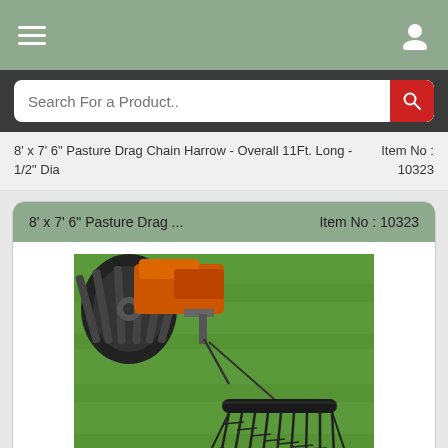Navigation bar with hamburger menu and user icon
Search For a Product..
8' x 7' 6" Pasture Drag Chain Harrow - Overall 11Ft. Long - 1/2" Dia   Item No : 10323
8' x 7' 6" Pasture Drag ...   Item No : 10323
[Figure (photo): Photo of a pasture drag chain harrow being pulled by a tractor across green grass. The harrow consists of chains and a cylindrical bar spread across the field.]